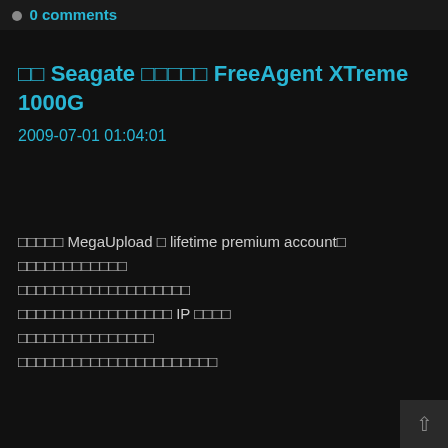0 comments
รีวิว Seagate ฮาร์ดดิสก์ FreeAgent XTreme 1000G
2009-07-01 01:04:01
สมัคร MegaUpload เป็น lifetime premium account ได้แล้ว
ดาวน์โหลดได้เร็วขึ้น
ดาวน์โหลดพร้อมกันได้หลายไฟล์
ดาวน์โหลดได้โดยไม่ต้องสลับ IP เหมือนเดิม
ไม่จำกัดเวลาดาวน์โหลด
ดาวน์โหลดไฟล์ขนาดใหญ่ได้ไม่จำกัด